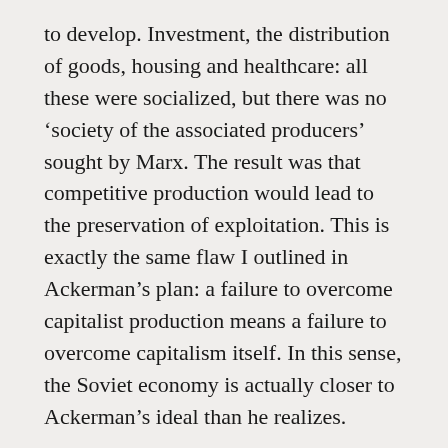to develop. Investment, the distribution of goods, housing and healthcare: all these were socialized, but there was no ‘society of the associated producers’ sought by Marx. The result was that competitive production would lead to the preservation of exploitation. This is exactly the same flaw I outlined in Ackerman’s plan: a failure to overcome capitalist production means a failure to overcome capitalism itself. In this sense, the Soviet economy is actually closer to Ackerman’s ideal than he realizes.
I would argue then, contrary to Ackerman, that the failure of actually existing central planning is not one of its potential, but historically one of its politics. The drive for accumulation for its own sake makes sense, when productivity in poor